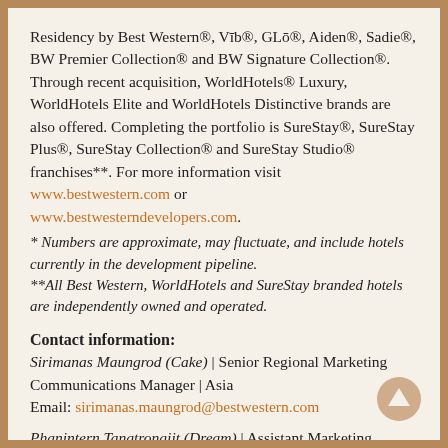Residency by Best Western®, Vīb®, GLō®, Aiden®, Sadie®, BW Premier Collection® and BW Signature Collection®. Through recent acquisition, WorldHotels® Luxury, WorldHotels Elite and WorldHotels Distinctive brands are also offered. Completing the portfolio is SureStay®, SureStay Plus®, SureStay Collection® and SureStay Studio® franchises**. For more information visit www.bestwestern.com or www.bestwesterndevelopers.com.
* Numbers are approximate, may fluctuate, and include hotels currently in the development pipeline. **All Best Western, WorldHotels and SureStay branded hotels are independently owned and operated.
Contact information:
Sirimanas Maungrod (Cake) | Senior Regional Marketing Communications Manager | Asia Email: sirimanas.maungrod@bestwestern.com
Phanintern Tangtrongjit (Dream) | Assistant Marketing